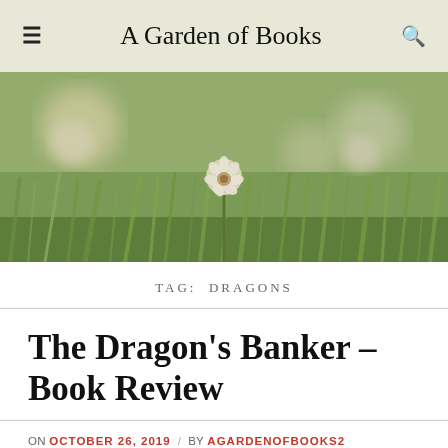A Garden of Books
[Figure (photo): Close-up photo of white clover and dandelion flowers in green grass, soft bokeh background, muted warm tones]
TAG: DRAGONS
The Dragon's Banker – Book Review
ON OCTOBER 26, 2019 / BY AGARDENOFBOOKS2